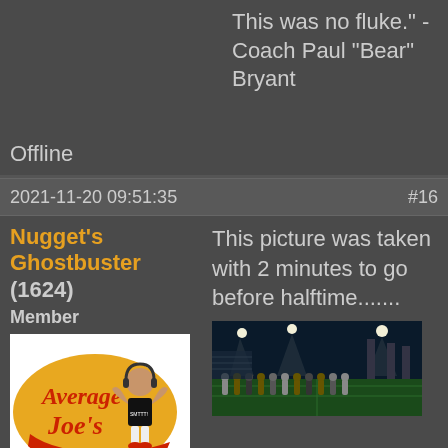This was no fluke." - Coach Paul "Bear" Bryant
Offline
2021-11-20 09:51:35   #16
Nugget's Ghostbuster (1624)
Member
[Figure (illustration): Average Joe's logo with cartoon character flexing, wearing headphones and SMTTT shirt]
From: U.S. Department of Interior
This picture was taken with 2 minutes to go before halftime.......
[Figure (photo): Night stadium photo with group of people posing on the field]